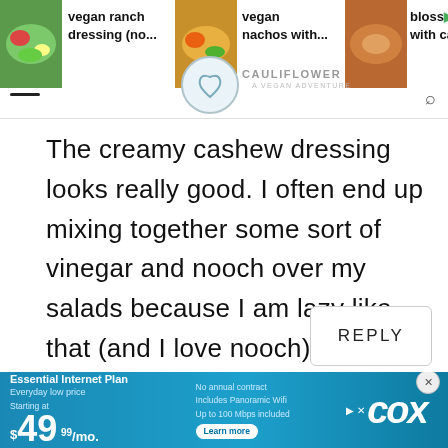vegan ranch dressing (no... | vegan nachos with... | blossoms with cash
The creamy cashew dressing looks really good. I often end up mixing together some sort of vinegar and nooch over my salads because I am lazy like that (and I love nooch). Avocado really does belong everywhere!
[Figure (screenshot): REPLY button in a rounded rectangle border]
[Figure (screenshot): Cox Essential Internet Plan ad banner: Starting at $49.99/mo, No annual contract, Includes Panoramic Wifi, Up to 100 Mbps included, Learn more]